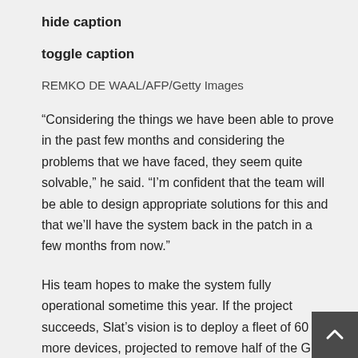hide caption
toggle caption
REMKO DE WAAL/AFP/Getty Images
“Considering the things we have been able to prove in the past few months and considering the problems that we have faced, they seem quite solvable,” he said. “I’m confident that the team will be able to design appropriate solutions for this and that we’ll have the system back in the patch in a few months from now.”
His team hopes to make the system fully operational sometime this year. If the project succeeds, Slat’s vision is to deploy a fleet of 60 more devices, projected to remove half of the Great Pacific Garbage Patch’s plastic within five years.